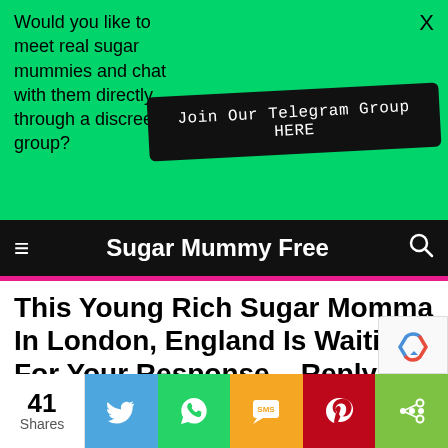Would you like to meet real sugar mummies and chat with them directly through a discreet group?
Join Our Telegram Group HERE
Sugar Mummy Free
This Young Rich Sugar Momma In London, England Is Waiting For Your Response – Reply Now
41 Shares